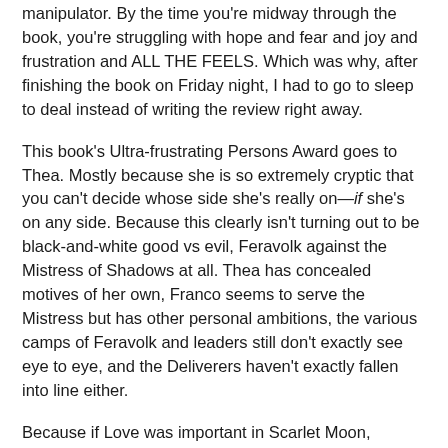manipulator. By the time you're midway through the book, you're struggling with hope and fear and joy and frustration and ALL THE FEELS. Which was why, after finishing the book on Friday night, I had to go to sleep to deal instead of writing the review right away.
This book's Ultra-frustrating Persons Award goes to Thea. Mostly because she is so extremely cryptic that you can't decide whose side she's really on—if she's on any side. Because this clearly isn't turning out to be black-and-white good vs evil, Feravolk against the Mistress of Shadows at all. Thea has concealed motives of her own, Franco seems to serve the Mistress but has other personal ambitions, the various camps of Feravolk and leaders still don't exactly see eye to eye, and the Deliverers haven't exactly fallen into line either.
Because if Love was important in Scarlet Moon, Individual Agency seems to be the theme of Amber Eyes. Serena has to decide between risking her safety to heal people or obeying the council and staying safe. The Healers must decide if they will help the Deliverers or stay hidden. Ethan